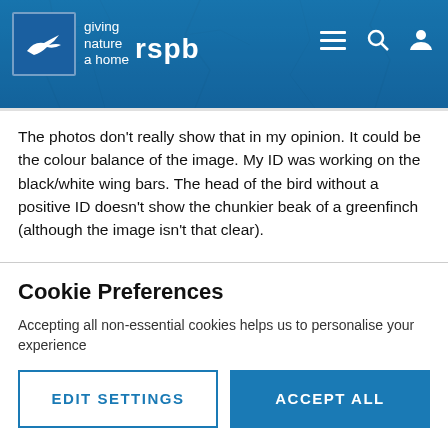[Figure (logo): RSPB logo with bird silhouette and text 'giving nature a home' on blue header with navigation icons]
The photos don't really show that in my opinion. It could be the colour balance of the image. My ID was working on the black/white wing bars. The head of the bird without a positive ID doesn't show the chunkier beak of a greenfinch (although the image isn't that clear).
The other possible ID could be an immature greenfinch, but without clearer images I still have to go with chaffin...
Cookie Preferences
Accepting all non-essential cookies helps us to personalise your experience